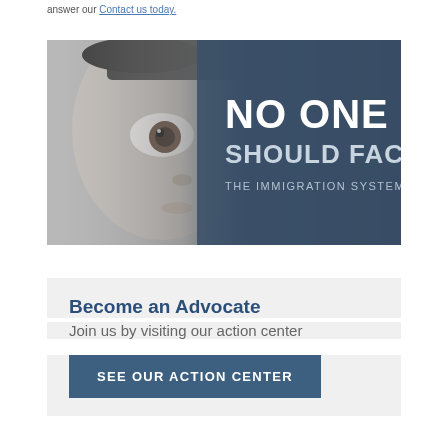answer our Contact us today.
[Figure (photo): Black and white close-up photo of a child's face on the left side, overlaid with dark blue-grey gradient on the right side containing bold white text: 'NO ONE SHOULD FACE THE IMMIGRATION SYSTEM ALONE.']
Become an Advocate
Join us by visiting our action center
SEE OUR ACTION CENTER